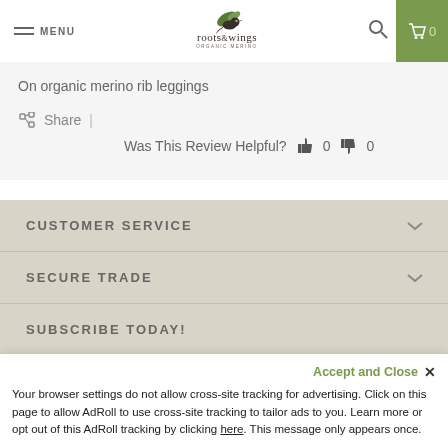MENU | roots&wings ORGANIC MERINO | Search | Cart 0
On organic merino rib leggings
Share | Was This Review Helpful? 0 0
CUSTOMER SERVICE
SECURE TRADE
SUBSCRIBE TODAY!
Accept and Close ✕
Your browser settings do not allow cross-site tracking for advertising. Click on this page to allow AdRoll to use cross-site tracking to tailor ads to you. Learn more or opt out of this AdRoll tracking by clicking here. This message only appears once.